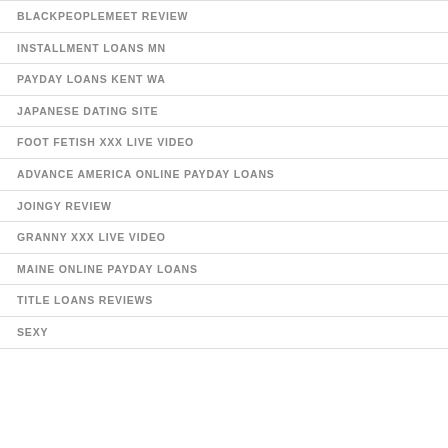BLACKPEOPLEMEET REVIEW
INSTALLMENT LOANS MN
PAYDAY LOANS KENT WA
JAPANESE DATING SITE
FOOT FETISH XXX LIVE VIDEO
ADVANCE AMERICA ONLINE PAYDAY LOANS
JOINGY REVIEW
GRANNY XXX LIVE VIDEO
MAINE ONLINE PAYDAY LOANS
TITLE LOANS REVIEWS
SEXY